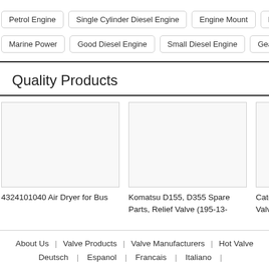Petrol Engine
Single Cylinder Diesel Engine
Engine Mount
Engine Coolant
Marine Power
Good Diesel Engine
Small Diesel Engine
Geared Motor
Bo...
Quality Products
[Figure (photo): Product image placeholder for 4324101040 Air Dryer for Bus]
4324101040 Air Dryer for Bus
[Figure (photo): Product image placeholder for Komatsu D155, D355 Spare Parts, Relief Valve (195-13-)]
Komatsu D155, D355 Spare Parts, Relief Valve (195-13-
[Figure (photo): Product image placeholder for Caterpillar Valve (8...)]
Caterpill... Valve (8...
About Us | Valve Products | Valve Manufacturers | Hot Valve | Deutsch | Espanol | Francais | Italiano |